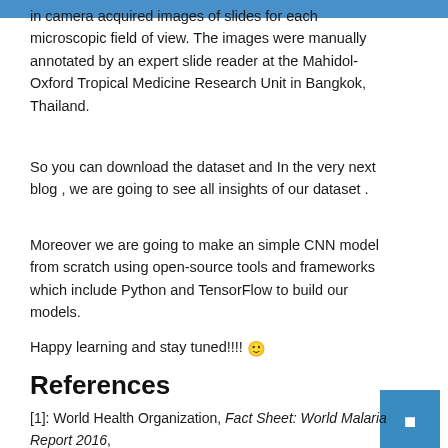in camera acquired images of slides for each microscopic field of view. The images were manually annotated by an expert slide reader at the Mahidol-Oxford Tropical Medicine Research Unit in Bangkok, Thailand.
So you can download the dataset and In the very next blog , we are going to see all insights of our dataset .
Moreover we are going to make an simple CNN model from scratch using open-source tools and frameworks which include Python and TensorFlow to build our models.
Happy learning and stay tuned!!!! 🙂
References
[1]: World Health Organization, Fact Sheet: World Malaria Report 2016, https://www.who.int/malaria/media/world-malaria-report-2016/en/ (13 December 2016).